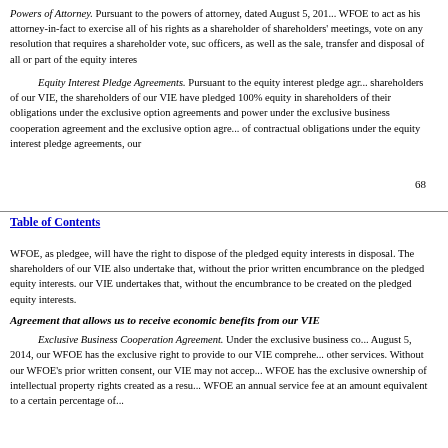Powers of Attorney. Pursuant to the powers of attorney, dated August 5, 201... WFOE to act as his attorney-in-fact to exercise all of his rights as a shareholder of shareholders' meetings, vote on any resolution that requires a shareholder vote, suc officers, as well as the sale, transfer and disposal of all or part of the equity interes
Equity Interest Pledge Agreements. Pursuant to the equity interest pledge agr shareholders of our VIE, the shareholders of our VIE have pledged 100% equity in shareholders of their obligations under the exclusive option agreements and power under the exclusive business cooperation agreement and the exclusive option agre of contractual obligations under the equity interest pledge agreements, our
68
Table of Contents
WFOE, as pledgee, will have the right to dispose of the pledged equity interests in disposal. The shareholders of our VIE also undertake that, without the prior written encumbrance on the pledged equity interests. our VIE undertakes that, without the encumbrance to be created on the pledged equity interests.
Agreement that allows us to receive economic benefits from our VIE
Exclusive Business Cooperation Agreement. Under the exclusive business co August 5, 2014, our WFOE has the exclusive right to provide to our VIE comprehe other services. Without our WFOE's prior written consent, our VIE may not accep WFOE has the exclusive ownership of intellectual property rights created as a resu WFOE an annual service fee at an amount equivalent to a certain percentage of...